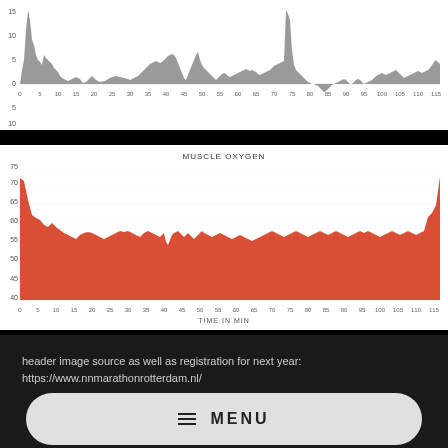[Figure (continuous-plot): Area chart showing elevation or speed data over time (0 to 155 min), gray filled area, y-axis from -10 to 15, multiple peaks visible especially at start and around 105]
[Figure (continuous-plot): Muscle Oxygen area chart over time (0 to 155 min), red/orange filled area, y-axis from 40 to 75, starts high around 68 then settles between 45-60 for duration, rises slightly at end]
header image source as well as registration for next year: https://www.nnmarathonrotterdam.nl/